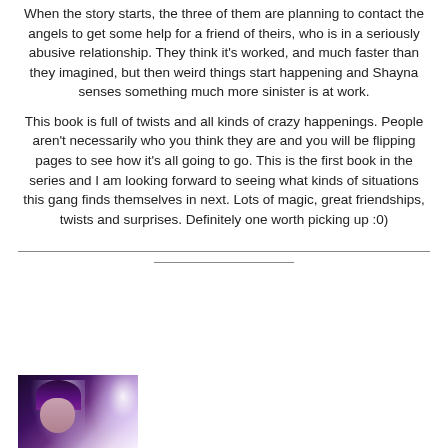When the story starts, the three of them are planning to contact the angels to get some help for a friend of theirs, who is in a seriously abusive relationship. They think it's worked, and much faster than they imagined, but then weird things start happening and Shayna senses something much more sinister is at work.
This book is full of twists and all kinds of crazy happenings. People aren't necessarily who you think they are and you will be flipping pages to see how it's all going to go. This is the first book in the series and I am looking forward to seeing what kinds of situations this gang finds themselves in next. Lots of magic, great friendships, twists and surprises. Definitely one worth picking up :0)
[Figure (photo): Book cover showing a woman with dark hair and dramatic eye makeup, surrounded by magical glowing light and sparkles, with a dark purple/fantasy aesthetic.]